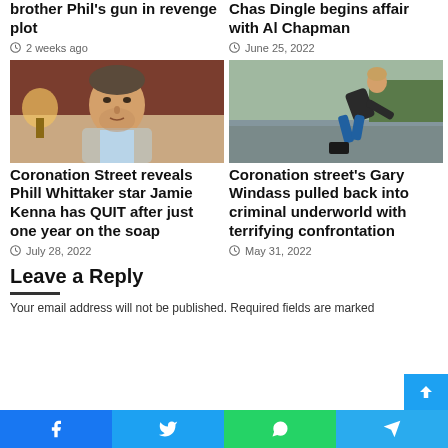brother Phil's gun in revenge plot
2 weeks ago
Chas Dingle begins affair with Al Chapman
June 25, 2022
[Figure (photo): Man in grey blazer sitting in a hotel-style room with a lamp behind him]
Coronation Street reveals Phill Whittaker star Jamie Kenna has QUIT after just one year on the soap
July 28, 2022
[Figure (photo): Man in dark top bending over outdoors on wet tarmac]
Coronation street's Gary Windass pulled back into criminal underworld with terrifying confrontation
May 31, 2022
Leave a Reply
Your email address will not be published. Required fields are marked